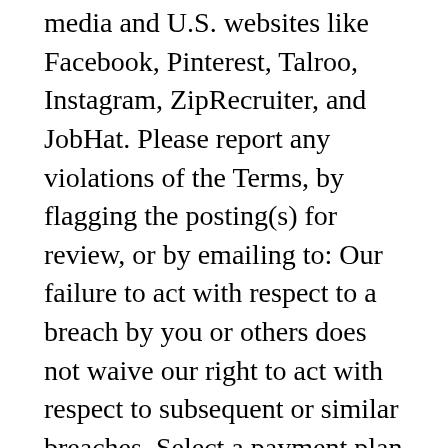media and U.S. websites like Facebook, Pinterest, Talroo, Instagram, ZipRecruiter, and JobHat. Please report any violations of the Terms, by flagging the posting(s) for review, or by emailing to: Our failure to act with respect to a breach by you or others does not waive our right to act with respect to subsequent or similar breaches. Select a payment plan and click "Post Now." Pros of Geebo Post free ads. Houston, TX, Texas, Free Classifieds Ads: Jobs, Apartments, Homes for Sale, New/Used Cars & More at Geebo You must give a 30-day notice if you want to cancel your subscription. Manage Gift Cards. Mobile Phone Service. 4. ", Send jobs to 100+ job boards with one submission, 21 Free Job Posting Sites - High